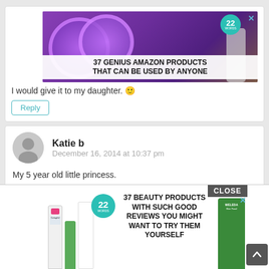[Figure (screenshot): Advertisement banner showing purple headphones with text '37 GENIUS AMAZON PRODUCTS THAT CAN BE USED BY ANYONE' and a 22 Words badge]
I would give it to my daughter. 🙂
Reply
Katie b
December 16, 2014 at 10:37 pm
My 5 year old little princess.
Reply
[Figure (screenshot): Advertisement showing beauty products (Cetaphil, Weleda) with text '37 BEAUTY PRODUCTS WITH SUCH GOOD REVIEWS YOU MIGHT WANT TO TRY THEM YOURSELF' and CLOSE button]